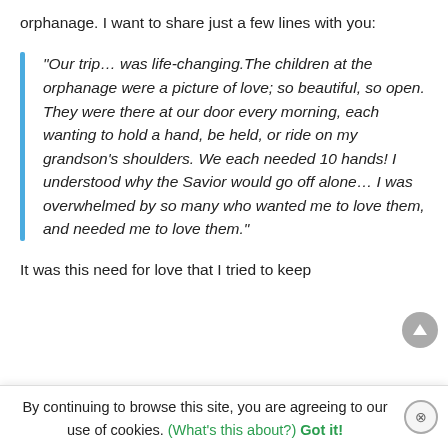orphanage. I want to share just a few lines with you:
“Our trip… was life-changing.The children at the orphanage were a picture of love; so beautiful, so open. They were there at our door every morning, each wanting to hold a hand, be held, or ride on my grandson’s shoulders. We each needed 10 hands! I understood why the Savior would go off alone… I was overwhelmed by so many who wanted me to love them, and needed me to love them.”
It was this need for love that I tried to keep
By continuing to browse this site, you are agreeing to our use of cookies. (What’s this about?) Got it!